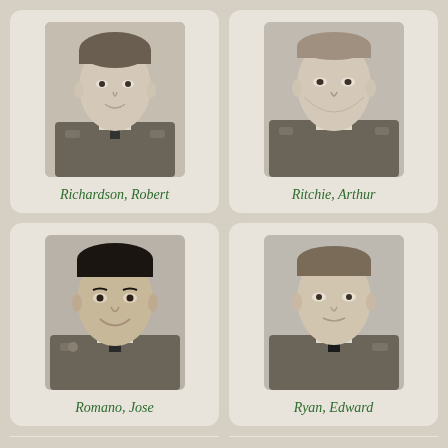[Figure (photo): Black and white military portrait photo of Richardson, Robert]
Richardson, Robert
[Figure (photo): Black and white military portrait photo of Ritchie, Arthur]
Ritchie, Arthur
[Figure (photo): Black and white military portrait photo of Romano, Jose]
Romano, Jose
[Figure (photo): Black and white military portrait photo of Ryan, Edward]
Ryan, Edward